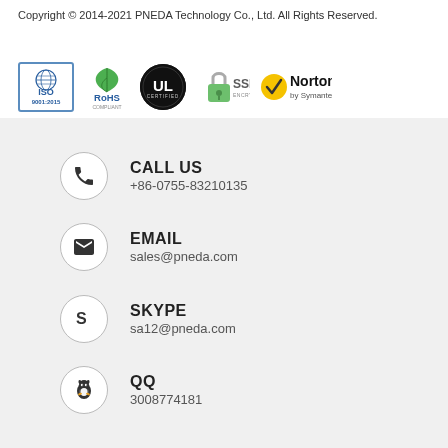Copyright © 2014-2021 PNEDA Technology Co., Ltd. All Rights Reserved.
[Figure (logo): Trust badges: ISO 9001:2015, RoHS Compliant, UL Certified, SSL Encryption, Norton by Symantec]
CALL US
+86-0755-83210135
EMAIL
sales@pneda.com
SKYPE
sa12@pneda.com
QQ
3008774181